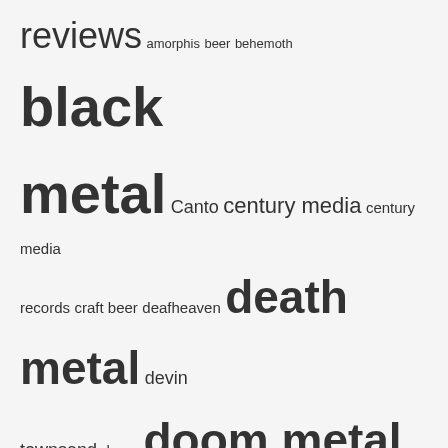[Figure (infographic): Tag cloud of music/metal genre and label related terms. Larger text indicates higher frequency. Terms include: reviews, amorphis, beer, behemoth, black metal, Canto, century media, century media records, craft beer, deafheaven, death metal, devin townsend, doom, doom metal, enslaved, ghost, gilead media, hardcore, heavy metal, independent, independent release, in flames, Initial Descent, interviews, iron maiden, lamb of god, mastodon, megadeth, metal, metal blade records, metallica, napalm records, new releases, Nine Circles ov..., nuclear blast, nuclear blast records, pelagic records, Playlists, podcast, post-metal, power metal, profile, profound lore, progressive metal, prosthetic records, rainbows in the dark, rammstein, Receiving the Evcharist, relapse records, season of mist, slayer]